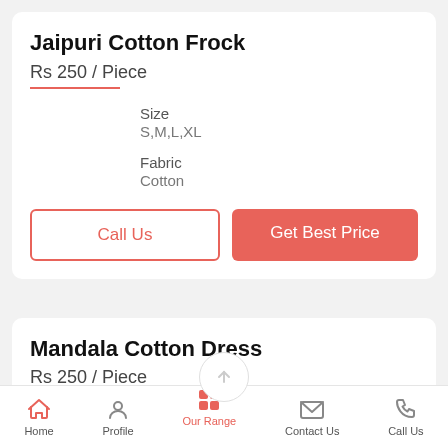Jaipuri Cotton Frock
Rs 250 / Piece
Size
S,M,L,XL
Fabric
Cotton
Call Us
Get Best Price
Mandala Cotton Dress
Rs 250 / Piece
Home  Profile  Our Range  Contact Us  Call Us